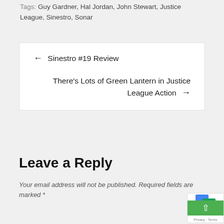Tags: Guy Gardner, Hal Jordan, John Stewart, Justice League, Sinestro, Sonar
← Sinestro #19 Review
There's Lots of Green Lantern in Justice League Action →
Leave a Reply
Your email address will not be published. Required fields are marked *